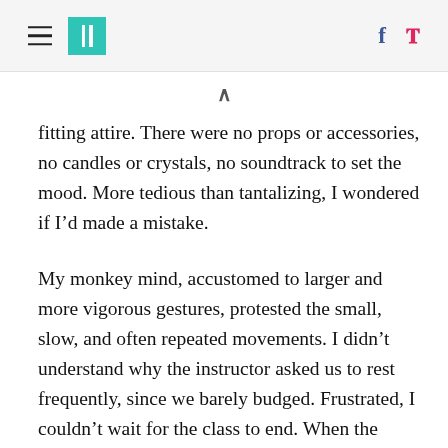[HuffPost navigation header with hamburger menu, logo, Facebook and Twitter icons]
fitting attire. There were no props or accessories, no candles or crystals, no soundtrack to set the mood. More tedious than tantalizing, I wondered if I’d made a mistake.
My monkey mind, accustomed to larger and more vigorous gestures, protested the small, slow, and often repeated movements. I didn’t understand why the instructor asked us to rest frequently, since we barely budged. Frustrated, I couldn’t wait for the class to end. When the teacher finally asked us to stand and notice differences from the beginning of